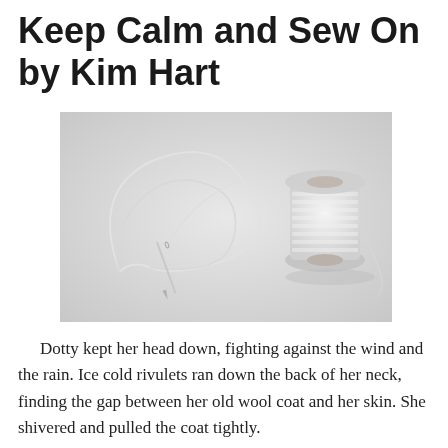Keep Calm and Sew On by Kim Hart
[Figure (photo): A white sewing needle with white thread looped around it, next to a white spool of thread, on a light grey background.]
Dotty kept her head down, fighting against the wind and the rain. Ice cold rivulets ran down the back of her neck, finding the gap between her old wool coat and her skin. She shivered and pulled the coat tightly.